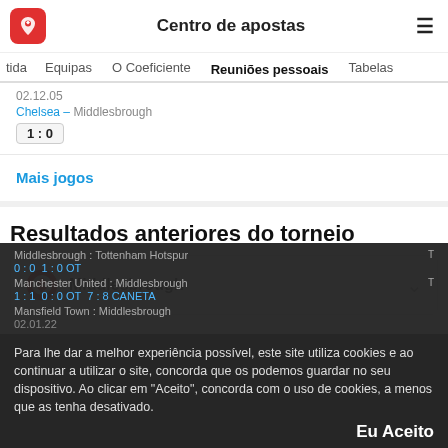Centro de apostas
tida   Equipas   O Coeficiente   Reuniões pessoais   Tabelas
02.12.05
Chelsea – Middlesbrough
1 : 0
Mais jogos
Resultados anteriores do torneio
Middlesbrough
Middlesbrough : Tottenham Hotspur
0 : 0   1 : 0 OT
T
Manchester United : Middlesbrough
1 : 1   0 : 0 OT   7 : 8 CANETA
T
Mansfield Town : Middlesbrough
02.01.22
Para lhe dar a melhor experiência possível, este site utiliza cookies e ao continuar a utilizar o site, concorda que os podemos guardar no seu dispositivo. Ao clicar em "Aceito", concorda com o uso de cookies, a menos que as tenha desativado.
Eu Aceito